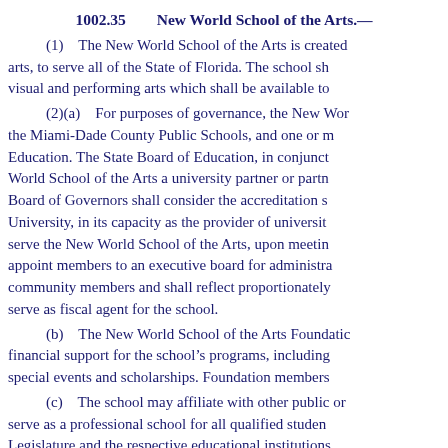1002.35     New World School of the Arts.—
(1)    The New World School of the Arts is created arts, to serve all of the State of Florida. The school sh visual and performing arts which shall be available to
(2)(a)    For purposes of governance, the New Wor the Miami-Dade County Public Schools, and one or m Education. The State Board of Education, in conjunct World School of the Arts a university partner or partn Board of Governors shall consider the accreditation s University, in its capacity as the provider of universit serve the New World School of the Arts, upon meetin appoint members to an executive board for administra community members and shall reflect proportionately serve as fiscal agent for the school.
(b)    The New World School of the Arts Foundatic financial support for the school's programs, including special events and scholarships. Foundation members
(c)    The school may affiliate with other public or serve as a professional school for all qualified studen Legislature and the respective educational institutions
(3)    The school shall submit annually a formula-d Legislature. This formula shall be developed in consu Legislature. However, the actual funding for the